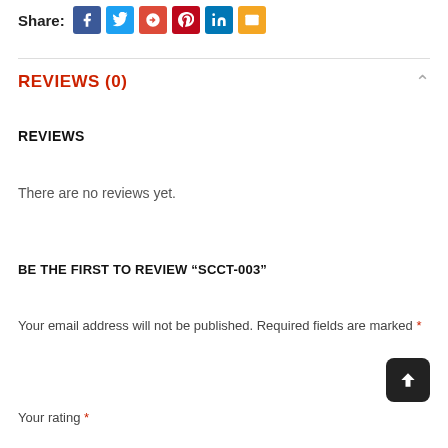Share:
REVIEWS (0)
REVIEWS
There are no reviews yet.
BE THE FIRST TO REVIEW “SCCT-003”
Your email address will not be published. Required fields are marked *
Your rating *